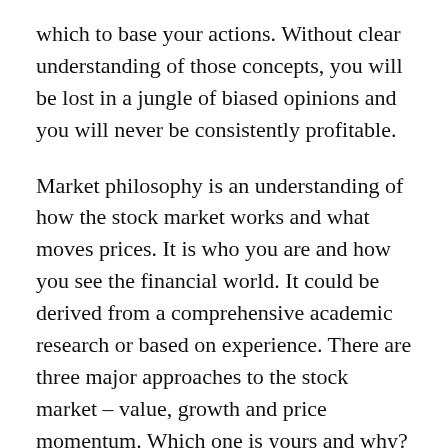which to base your actions. Without clear understanding of those concepts, you will be lost in a jungle of biased opinions and you will never be consistently profitable.
Market philosophy is an understanding of how the stock market works and what moves prices. It is who you are and how you see the financial world. It could be derived from a comprehensive academic research or based on experience. There are three major approaches to the stock market – value, growth and price momentum. Which one is yours and why? Further, what is your time horizon? Are you an investor, swing trader or a day trader. Define yourself. There is no such thing as right or